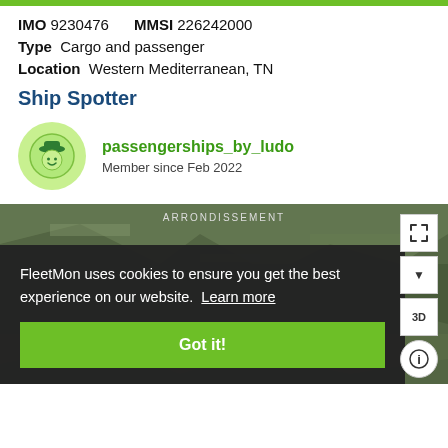IMO 9230476    MMSI 226242000
Type  Cargo and passenger
Location  Western Mediterranean, TN
Ship Spotter
passengerships_by_ludo
Member since Feb 2022
[Figure (screenshot): Map view showing aerial/satellite imagery with ARRONDISSEMENT label, overlaid with a cookie consent dialog. The dialog contains text: FleetMon uses cookies to ensure you get the best experience on our website. Learn more. And a green Got it! button. Map controls (fullscreen, arrow, 3D, info) visible on the right.]